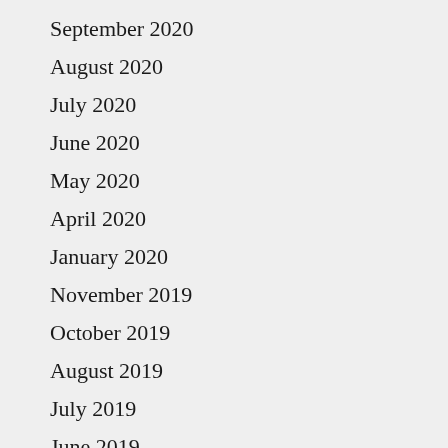September 2020
August 2020
July 2020
June 2020
May 2020
April 2020
January 2020
November 2019
October 2019
August 2019
July 2019
June 2019